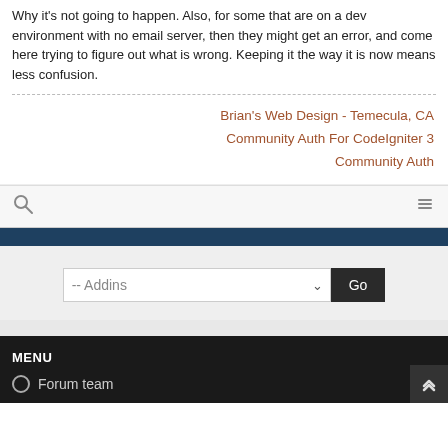Why it's not going to happen. Also, for some that are on a dev environment with no email server, then they might get an error, and come here trying to figure out what is wrong. Keeping it the way it is now means less confusion.
Brian's Web Design - Temecula, CA
Community Auth For CodeIgniter 3
Community Auth
[Figure (screenshot): Toolbar with search icon on left and edit/pencil icon on right]
[Figure (screenshot): Dark blue navigation bar]
[Figure (screenshot): Addins dropdown selector with Go button]
MENU
Forum team